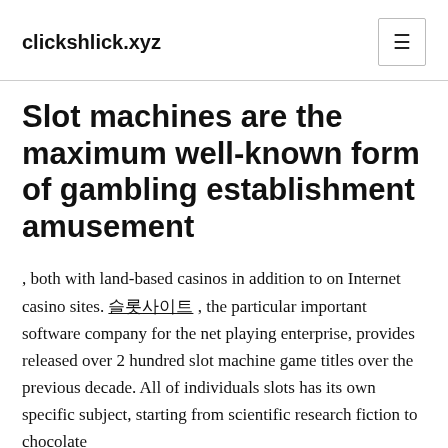clickshlick.xyz
Slot machines are the maximum well-known form of gambling establishment amusement
, both with land-based casinos in addition to on Internet casino sites. 슬롯사이트 , the particular important software company for the net playing enterprise, provides released over 2 hundred slot machine game titles over the previous decade. All of individuals slots has its own specific subject, starting from scientific research fiction to chocolate